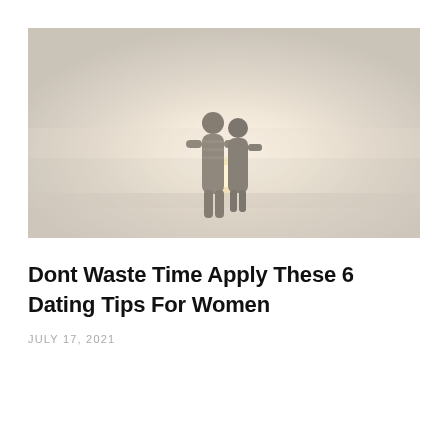[Figure (photo): A hazy, warm-toned outdoor photo showing two figures (couple) from behind, silhouetted against a misty, sunlit background. One figure appears to be carrying the other. A soft glowing sun or light source is visible near the center-bottom.]
Dont Waste Time Apply These 6 Dating Tips For Women
JULY 17, 2021